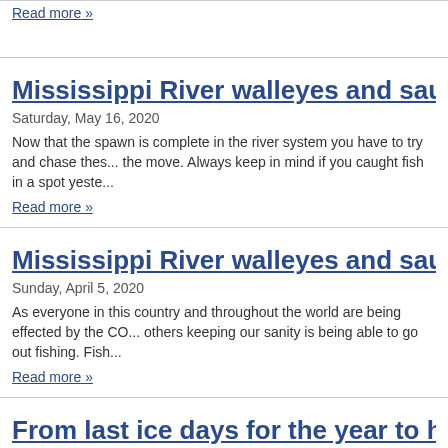Read more »
Mississippi River walleyes and sauger fishing rep...
Saturday, May 16, 2020
Now that the spawn is complete in the river system you have to try and chase these fish on the move.   Always keep in mind if you caught fish in a spot yeste...
Read more »
Mississippi River walleyes and sauger report
Sunday, April 5, 2020
As everyone in this country and throughout the world are being effected by the CO... others keeping our sanity is being able to go out fishing.   Fish...
Read more »
From last ice days for the year to hitting it hard in...
Thursday, March 19, 2020
Over the last couple weeks I have had an absolute blast ice fishing with some frien...